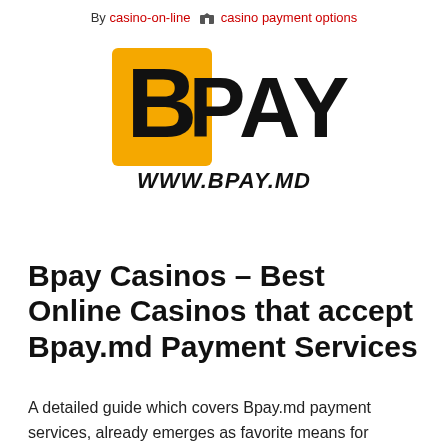By casino-on-line  ■ casino payment options
[Figure (logo): BPay logo with yellow square containing bold B letter and PAY text beside it, with www.bpay.md URL below in bold italic]
Bpay Casinos – Best Online Casinos that accept Bpay.md Payment Services
A detailed guide which covers Bpay.md payment services, already emerges as favorite means for